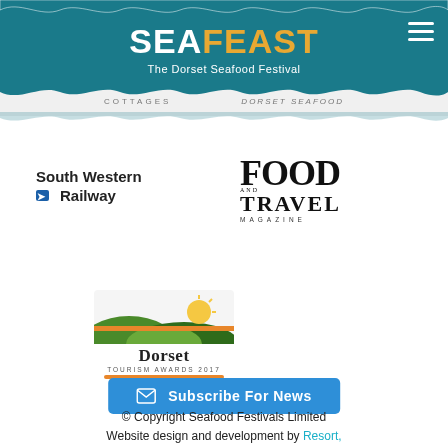SEAFEAST - The Dorset Seafood Festival
[Figure (logo): South Western Railway logo with arrow icon]
[Figure (logo): Food and Travel Magazine logo in large bold serif text]
[Figure (logo): Dorset Tourism Awards 2017 Gold Award logo with sun and hills graphic]
Subscribe For News
© Copyright Seafood Festivals Limited
Website design and development by Resort, Weymouth
Please note that all quoted times / schedules and guest appearances are subject to change.